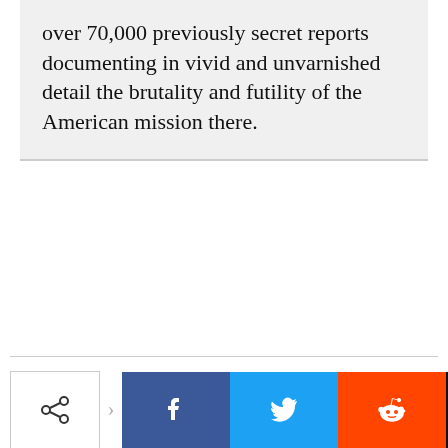over 70,000 previously secret reports documenting in vivid and unvarnished detail the brutality and futility of the American mission there.
[Figure (infographic): Social sharing buttons: share icon button, Facebook (blue), Twitter (cyan), Reddit (orange), Email (black), Print (grey)]
Previous article
Next article
Trump says don't trust anonymous sources — and
In the war on truth, the press can't be an innocent bystander